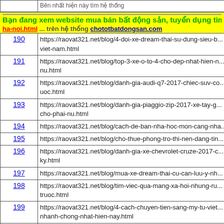Bạn đang xem website mua bán bất động sản, tuyển dụng tìm việc làm ha-noi.html ... trên hệ thống chototbatdongsan.com
| # | URL |
| --- | --- |
| 190 | https://raovat321.net/blog/4-doi-xe-dream-thai-su-dung-sieu-b... viet-nam.html |
| 191 | https://raovat321.net/blog/top-3-xe-o-to-4-cho-dep-nhat-hien-n... nu.html |
| 192 | https://raovat321.net/blog/danh-gia-audi-q7-2017-chiec-suv-co... uoc.html |
| 193 | https://raovat321.net/blog/danh-gia-piaggio-zip-2017-xe-tay-g... cho-phai-nu.html |
| 194 | https://raovat321.net/blog/cach-de-ban-nha-hoc-mon-cang-nha... |
| 195 | https://raovat321.net/blog/cho-thue-phong-tro-thi-nen-dang-tin... |
| 196 | https://raovat321.net/blog/danh-gia-xe-chevrolet-cruze-2017-c... ky.html |
| 197 | https://raovat321.net/blog/mua-xe-dream-thai-cu-can-luu-y-nh... |
| 198 | https://raovat321.net/blog/tim-viec-qua-mang-xa-hoi-nhung-ru... truoc.html |
| 199 | https://raovat321.net/blog/4-cach-chuyen-tien-sang-my-tu-viet... nhanh-chong-nhat-hien-nay.html |
| 200 | https://raovat321.net/blog/tim-hieu-viec-lam-quan-ly-nha-hang... hien-nay.html |